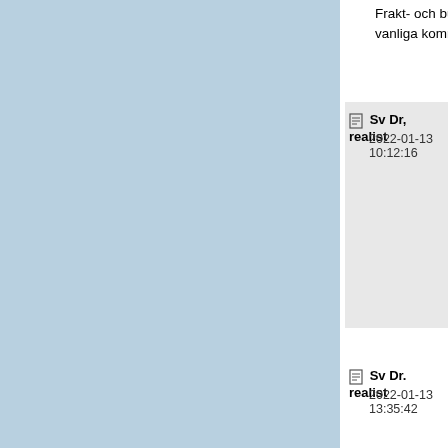Frakt- och businessbolagen ko... vanliga kommersiella flygbolag
Sv Dr, realist
2022-01-13 10:12:16
SV: RyanAir på väg mot storf...
Den anklagade är aldrig skyldig... annan.

Skall vi följa din utsago behövs... anklagade som svarar jag är os...

Jag ser inget realistiskt i Dr. rea... Du har tydligen läst men inte fö...
Sv Dr. realist
2022-01-13 13:35:42
SV: RyanAir på väg mot storf...
Data från Ryanair egen hemsid... 20 samt april 20 t.o.m. mars 21...

För innevarande verksamhetså... Ryanair har meddelat att det bl... verksamhetsår som slutar den s...

Mar 20     Mar 21

Guests (m)
149          27.5 -81%